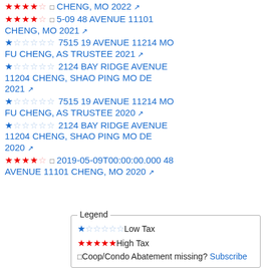★★★★☆ □ 5-09 48 AVENUE 11101 CHENG, MO 2022 ↗
★★★★☆ □ 5-09 48 AVENUE 11101 CHENG, MO 2021 ↗
★☆☆☆☆ 7515 19 AVENUE 11214 MO FU CHENG, AS TRUSTEE 2021 ↗
★☆☆☆☆ 2124 BAY RIDGE AVENUE 11204 CHENG, SHAO PING MO DE 2021 ↗
★☆☆☆☆ 7515 19 AVENUE 11214 MO FU CHENG, AS TRUSTEE 2020 ↗
★☆☆☆☆ 2124 BAY RIDGE AVENUE 11204 CHENG, SHAO PING MO DE 2020 ↗
★★★★☆ □ 2019-05-09T00:00:00.000 48 AVENUE 11101 CHENG, MO 2020 ↗
Legend: ★☆☆☆☆ Low Tax | ★★★★★ High Tax | □ Coop/Condo Abatement missing? Subscribe